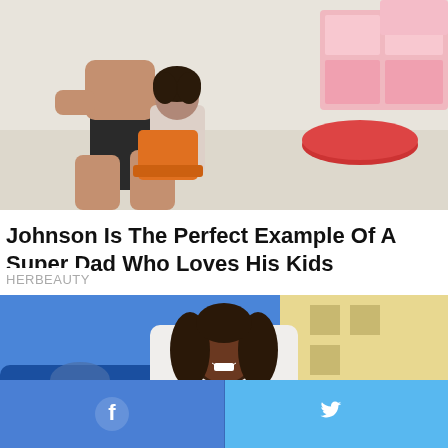[Figure (photo): A man (Dwayne Johnson) sitting and interacting with a young child near colorful toys and a pink play kitchen in the background.]
Johnson Is The Perfect Example Of A Super Dad Who Loves His Kids
HERBEAUTY
[Figure (photo): A young Black woman with long curly hair smiling, wearing a white top, standing in front of a blue car and a building.]
Share buttons: Facebook and Twitter